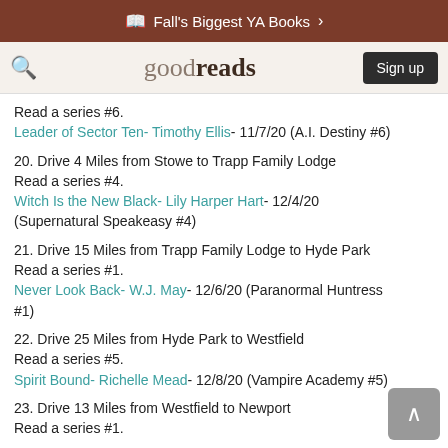Fall's Biggest YA Books >
goodreads  Sign up
Read a series #6.
Leader of Sector Ten- Timothy Ellis- 11/7/20 (A.I. Destiny #6)
20. Drive 4 Miles from Stowe to Trapp Family Lodge
Read a series #4.
Witch Is the New Black- Lily Harper Hart- 12/4/20 (Supernatural Speakeasy #4)
21. Drive 15 Miles from Trapp Family Lodge to Hyde Park
Read a series #1.
Never Look Back- W.J. May- 12/6/20 (Paranormal Huntress #1)
22. Drive 25 Miles from Hyde Park to Westfield
Read a series #5.
Spirit Bound- Richelle Mead- 12/8/20 (Vampire Academy #5)
23. Drive 13 Miles from Westfield to Newport
Read a series #1.